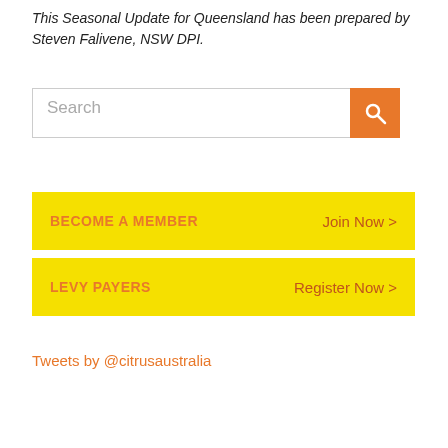This Seasonal Update for Queensland has been prepared by Steven Falivene, NSW DPI.
[Figure (other): Search bar with orange search button]
BECOME A MEMBER   Join Now >
LEVY PAYERS   Register Now >
Tweets by @citrusaustralia